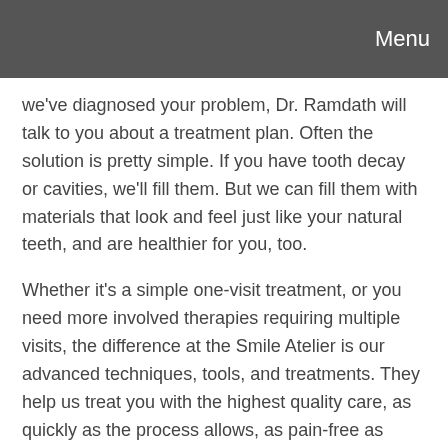Menu
we've diagnosed your problem, Dr. Ramdath will talk to you about a treatment plan. Often the solution is pretty simple. If you have tooth decay or cavities, we'll fill them. But we can fill them with materials that look and feel just like your natural teeth, and are healthier for you, too.
Whether it's a simple one-visit treatment, or you need more involved therapies requiring multiple visits, the difference at the Smile Atelier is our advanced techniques, tools, and treatments. They help us treat you with the highest quality care, as quickly as the process allows, as pain-free as possible, and with the most enduring and attractive